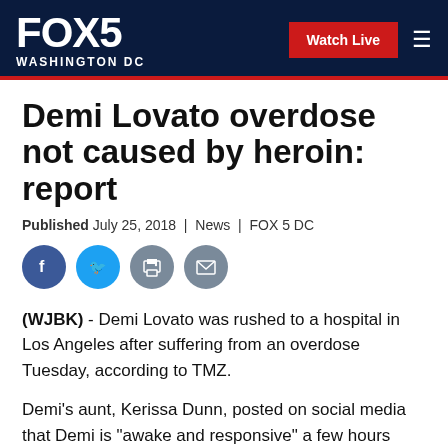FOX 5 WASHINGTON DC | Watch Live
Demi Lovato overdose not caused by heroin: report
Published July 25, 2018 | News | FOX 5 DC
[Figure (other): Social media sharing icons: Facebook, Twitter, Print, Email]
(WJBK) - Demi Lovato was rushed to a hospital in Los Angeles after suffering from an overdose Tuesday, according to TMZ.
Demi's aunt, Kerissa Dunn, posted on social media that Demi is "awake and responsive" a few hours later.
Sources told TMZ they believed it was heroin based on